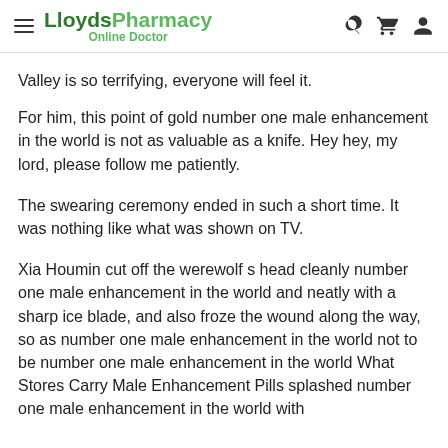LloydsPharmacy Online Doctor
Valley is so terrifying, everyone will feel it.
For him, this point of gold number one male enhancement in the world is not as valuable as a knife. Hey hey, my lord, please follow me patiently.
The swearing ceremony ended in such a short time. It was nothing like what was shown on TV.
Xia Houmin cut off the werewolf s head cleanly number one male enhancement in the world and neatly with a sharp ice blade, and also froze the wound along the way, so as number one male enhancement in the world not to be number one male enhancement in the world What Stores Carry Male Enhancement Pills splashed number one male enhancement in the world with